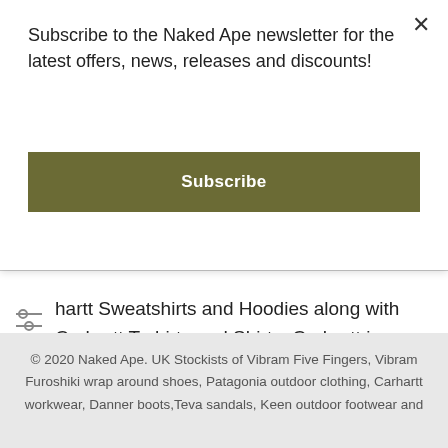Subscribe to the Naked Ape newsletter for the latest offers, news, releases and discounts!
Subscribe
hartt Sweatshirts and Hoodies along with Carhartt T-shirts and Shirts. Carhartt jeans and work pants are hardwearing and available in a selection of colours.
© 2020 Naked Ape. UK Stockists of Vibram Five Fingers, Vibram Furoshiki wrap around shoes, Patagonia outdoor clothing, Carhartt workwear, Danner boots,Teva sandals, Keen outdoor footwear and